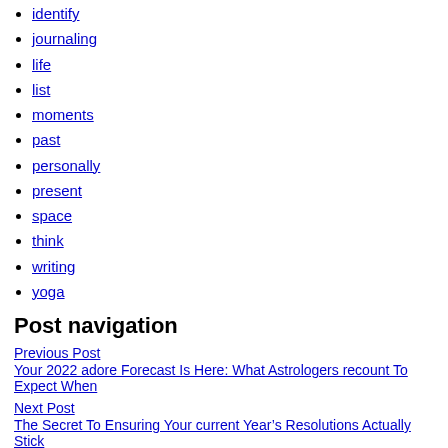identify
journaling
life
list
moments
past
personally
present
space
think
writing
yoga
Post navigation
Previous Post
Your 2022 adore Forecast Is Here: What Astrologers recount To Expect When
Next Post
The Secret To Ensuring Your current Year’s Resolutions Actually Stick
Leave a Comment